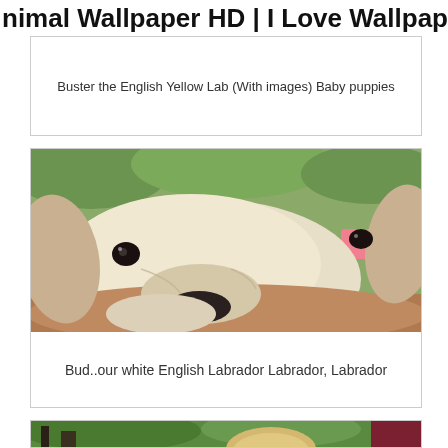nimal Wallpaper HD | I Love Wallpap
Buster the English Yellow Lab (With images) Baby puppies
[Figure (photo): Close-up photo of a white/cream English Labrador puppy resting its chin on what appears to be a brown surface, with green foliage in the background and a pink element visible in the upper right.]
Bud..our white English Labrador Labrador, Labrador
[Figure (photo): Photo of a yellow Labrador puppy outdoors, partially visible, with a person in dark red/maroon clothing and outdoor furniture in the background.]